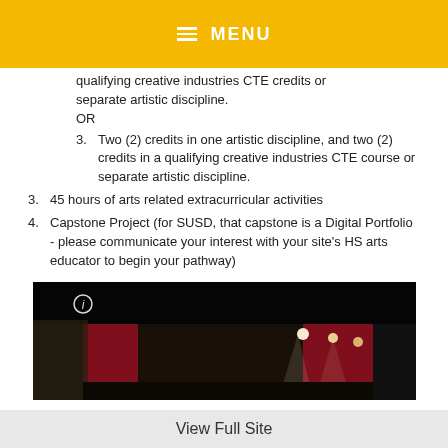≡ MENU
qualifying creative industries CTE credits or separate artistic discipline.
OR
3. Two (2) credits in one artistic discipline, and two (2) credits in a qualifying creative industries CTE course or separate artistic discipline.
3. 45 hours of arts related extracurricular activities
4. Capstone Project (for SUSD, that capstone is a Digital Portfolio - please communicate your interest with your site's HS arts educator to begin your pathway)
[Figure (photo): A darkened theater stage with red curtains and stage lighting visible]
View Full Site